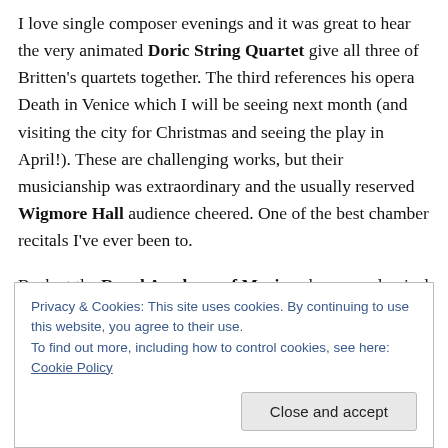I love single composer evenings and it was great to hear the very animated Doric String Quartet give all three of Britten's quartets together. The third references his opera Death in Venice which I will be seeing next month (and visiting the city for Christmas and seeing the play in April!). These are challenging works, but their musicianship was extraordinary and the usually reserved Wigmore Hall audience cheered. One of the best chamber recitals I've ever been to.
Back at the Royal Academy of Music, where my classical
Privacy & Cookies: This site uses cookies. By continuing to use this website, you agree to their use.
To find out more, including how to control cookies, see here: Cookie Policy
Close and accept